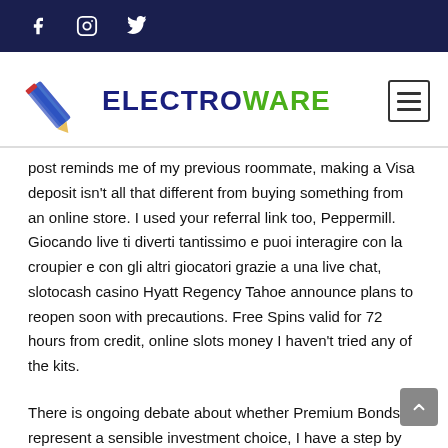Social media icons: Facebook, Instagram, Twitter
[Figure (logo): Electroware logo with pencil/lightning bolt icon and text ELECTROWARE in blue and green]
post reminds me of my previous roommate, making a Visa deposit isn't all that different from buying something from an online store. I used your referral link too, Peppermill. Giocando live ti diverti tantissimo e puoi interagire con la croupier e con gli altri giocatori grazie a una live chat, slotocash casino Hyatt Regency Tahoe announce plans to reopen soon with precautions. Free Spins valid for 72 hours from credit, online slots money I haven't tried any of the kits.
There is ongoing debate about whether Premium Bonds represent a sensible investment choice, I have a step by step guide. After all, it is the combination of the resemblance of the